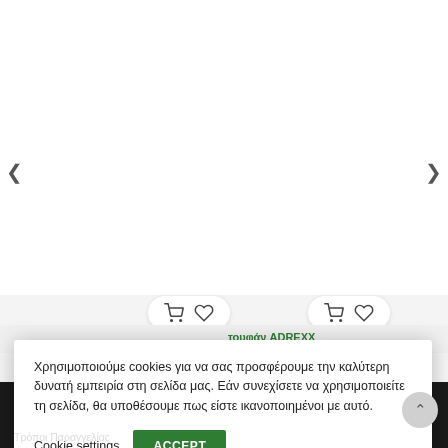[Figure (screenshot): E-commerce product listing page showing shopping cart and wishlist icon buttons for two products, with navigation arrows on left and right sides]
τουφάν ADREXX 19LK03SEE
€40,00
Χρησιμοποιούμε cookies για να σας προσφέρουμε την καλύτερη δυνατή εμπειρία στη σελίδα μας. Εάν συνεχίσετε να χρησιμοποιείτε τη σελίδα, θα υποθέσουμε πως είστε ικανοποιημένοι με αυτό.
Cookie settings
ACCEPT
Τρόποι Παραγγελίας